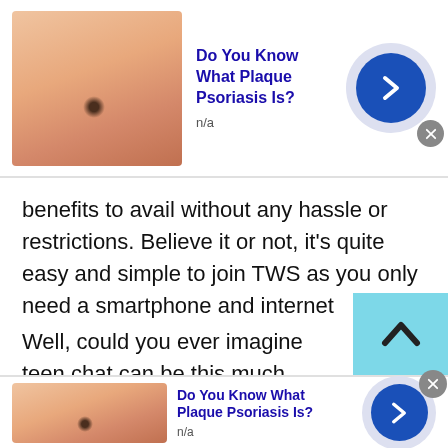[Figure (screenshot): Advertisement banner at top: skin/mole photo thumbnail, title 'Do You Know What Plaque Psoriasis Is?', 'n/a', blue arrow button with lavender circle background]
benefits to avail without any hassle or restrictions. Believe it or not, it's quite easy and simple to join TWS as you only need a smartphone and internet connection.

Well, could you ever imagine teen chat can be this much simple and easy? If not then still you have a choice to choose an online platform where you can freely talk to strangers online.
[Figure (screenshot): Scroll-up button: cyan/teal square with upward chevron arrow]
[Figure (screenshot): Advertisement banner at bottom: skin/mole photo thumbnail, title 'Do You Know What Plaque Psoriasis Is?', 'n/a', blue arrow button with lavender circle background, gray X close button]